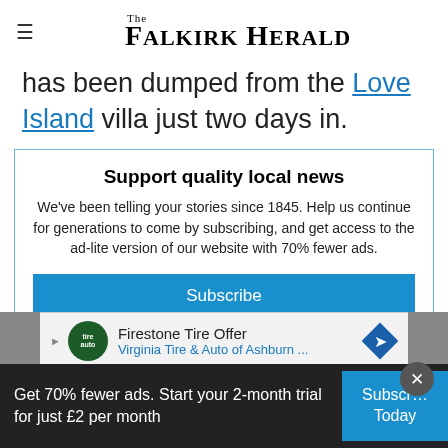The Falkirk Herald
has been dumped from the Love Island villa just two days in.
Support quality local news
We've been telling your stories since 1845. Help us continue for generations to come by subscribing, and get access to the ad-lite version of our website with 70% fewer ads.
Subscribe
[Figure (infographic): Advertisement banner: Firestone Tire Offer — Virginia Tire & Auto of Ashburn...]
Already subscribed? Log in here
Get 70% fewer ads. Start your 2-month trial for just £2 per month
Subscribe Today